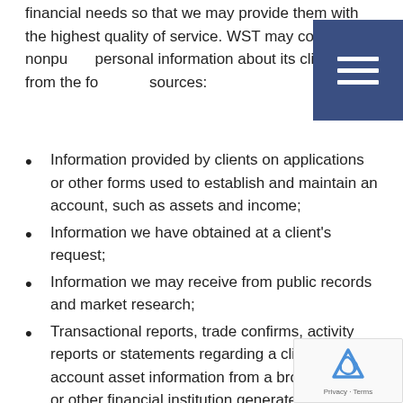financial needs so that we may provide them with the highest quality of service. WST may collect nonpublic personal information about its clients from the following sources:
Information provided by clients on applications or other forms used to establish and maintain an account, such as assets and income;
Information we have obtained at a client's request;
Information we may receive from public records and market research;
Transactional reports, trade confirms, activity reports or statements regarding a client's account asset information from a broker, bank or other financial institution generated in the servicing of the account;
Financial or asset related information that we receive from third parties with respect to a client's account.